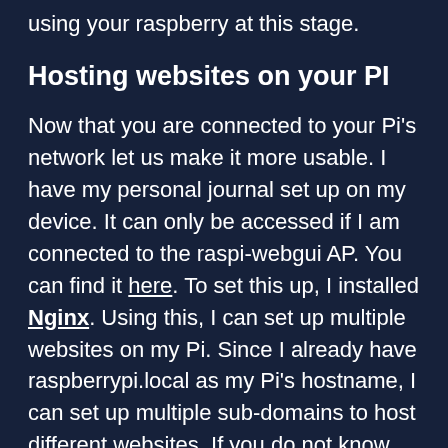using your raspberry at this stage.
Hosting websites on your PI
Now that you are connected to your Pi's network let us make it more usable. I have my personal journal set up on my device. It can only be accessed if I am connected to the raspi-webgui AP. You can find it here. To set this up, I installed Nginx. Using this, I can set up multiple websites on my Pi. Since I already have raspberrypi.local as my Pi's hostname, I can set up multiple sub-domains to host different websites. If you do not know how to set up Nginx, you can take a look